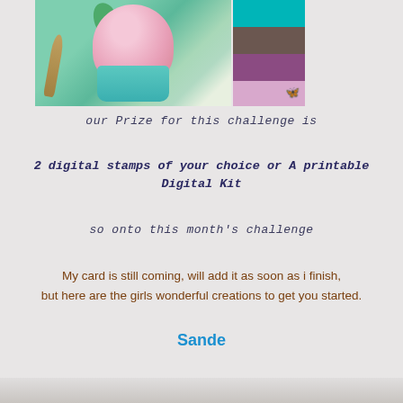[Figure (photo): A pink frosted cupcake in a teal/turquoise paper cup with a green leaf decoration, next to a silver spoon, on a green background. To the right are four color swatches: teal, brown/taupe, purple, and lavender with a butterfly logo.]
our Prize for this challenge is
2 digital stamps of your choice or A printable Digital Kit
so onto this month's challenge
My card is still coming, will add it as soon as i finish, but here are the girls wonderful creations to get you started.
Sande